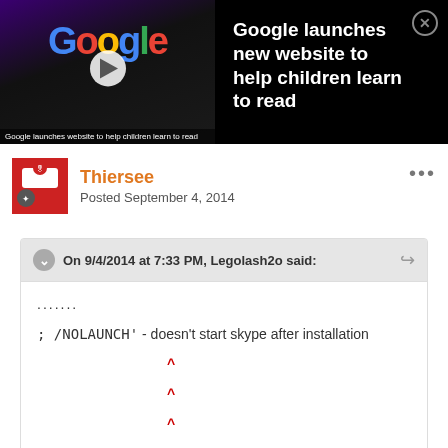[Figure (screenshot): Video thumbnail showing Google logo in colorful letters on a dark stage background with a play button overlay and a caption 'Google launches website to help children learn to read']
Google launches new website to help children learn to read
Thiersee
Posted September 4, 2014
On 9/4/2014 at 7:33 PM, Legolash2o said:
.......

; /NOLAUNCH' - doesn't start skype after installation

^

^

^